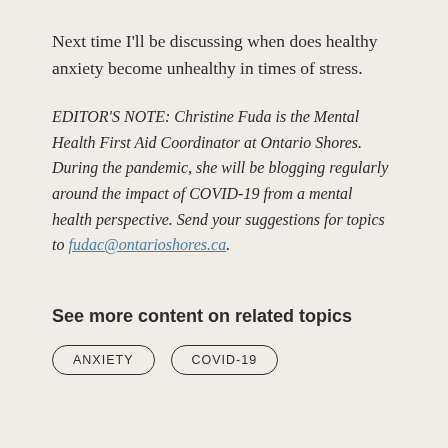Next time I'll be discussing when does healthy anxiety become unhealthy in times of stress.
EDITOR'S NOTE: Christine Fuda is the Mental Health First Aid Coordinator at Ontario Shores. During the pandemic, she will be blogging regularly around the impact of COVID-19 from a mental health perspective. Send your suggestions for topics to fudac@ontarioshores.ca.
See more content on related topics
ANXIETY
COVID-19